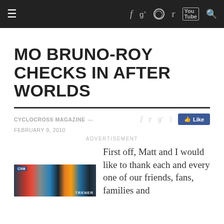≡  f  g+  ◎  🐦  YouTube  🔍
MO BRUNO-ROY CHECKS IN AFTER WORLDS
CYCLOCROSS MAGAZINE — FEBRUARY 9, 2010
ADVERTISEMENT
[Figure (photo): Group photo of cyclocross riders/spectators at Worlds event]
First off, Matt and I would like to thank each and every one of our friends, fans, families and